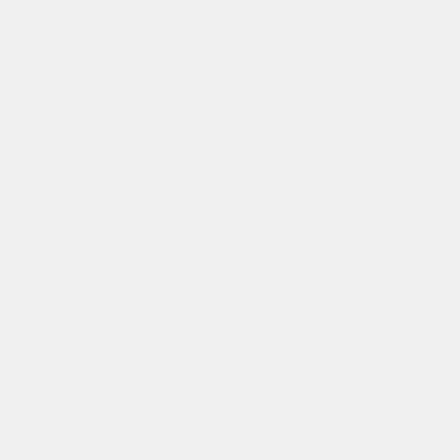CONFIG_USB_DSBR=m
CONFIG_RADIO_MAXIRADIO=m
CONFIG_RADIO_SHARK=m
CONFIG_RADIO_SHARK2=m
CONFIG_USB_KEENE=m
CONFIG_USB_RAREMONO=m
CONFIG_USB_MA901=m
# CONFIG_RADIO_TEA5764 is not se
# CONFIG_RADIO_SAA7706H is not s
# CONFIG_RADIO_TEF6862 is not se
# CONFIG_RADIO_WL1273 is not set

#
# Texas Instruments WL128x FM dr
#

#
# Supported FireWire (IEEE 1394)
#
CONFIG_DVB_FIREDTV=m
CONFIG_DVB_FIREDTV_INPUT=y
CONFIG_MEDIA_COMMON_OPTIONS=y

#
# common driver options
#
CONFIG_VIDEO_CX2341X=m
CONFIG_VIDEO_TVEEPROM=m
CONFIG_CYPRESS_FIRMWARE=m
CONFIG_VIDEOBUF2_CORE=m
CONFIG_VIDEOBUF2_V4L2=m
CONFIG_VIDEOBUF2_MEMOPS=m
CONFIG_VIDEOBUF2_DMA_CONTIG=m